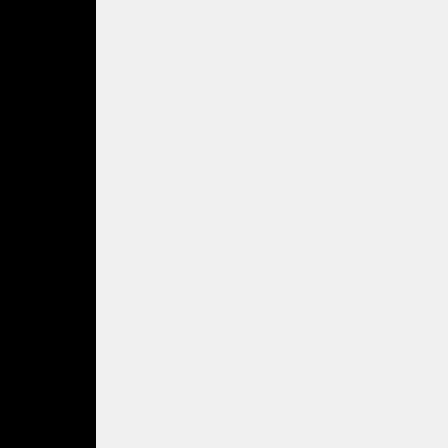Interestingly my 5 year old he wished he was like his imagination, in other words he's remembered. (He's pr like my husband! And his 7
28 November 2010 at 20:4
The Wicked Lady said...
This post struck a chord wi of 7 to 13. It eventually fell particular there was one gi and confused her having to her comments were simply was uncomfortable reading
It made me very sad. What eight or nine(when she hap twelve, when she just coul
I don't think we can blame didn't play computer games environment, maybe some
Thirty years ago I had book